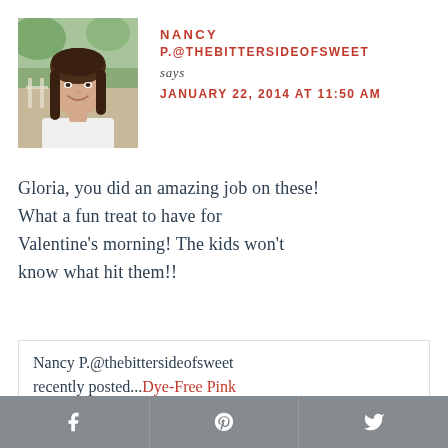[Figure (photo): Profile photo of a woman with long brown hair smiling, outdoor background]
NANCY P.@THEBITTERSIDEOFSWEET says JANUARY 22, 2014 AT 11:50 AM
Gloria, you did an amazing job on these! What a fun treat to have for Valentine's morning! The kids won't know what hit them!!
Nancy P.@thebittersideofsweet recently posted...Dye-Free Pink Sugar Cookies (Guest Post)
Facebook | Pinterest | Twitter